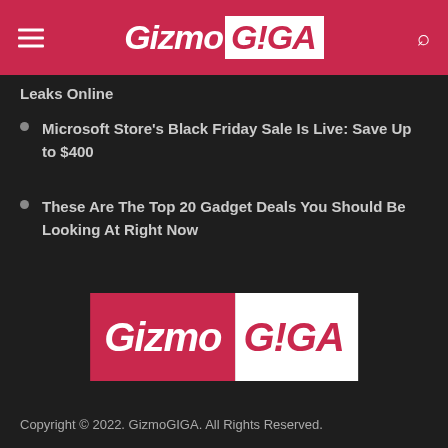GizmoGIGA
Leaks Online
Microsoft Store's Black Friday Sale Is Live: Save Up to $400
These Are The Top 20 Gadget Deals You Should Be Looking At Right Now
[Figure (logo): GizmoGIGA logo with pink/magenta background for Gizmo and white background for GIGA in red text]
Copyright © 2022. GizmoGIGA. All Rights Reserved.
All third-party names and logos are registered trademarks of their respective owners.